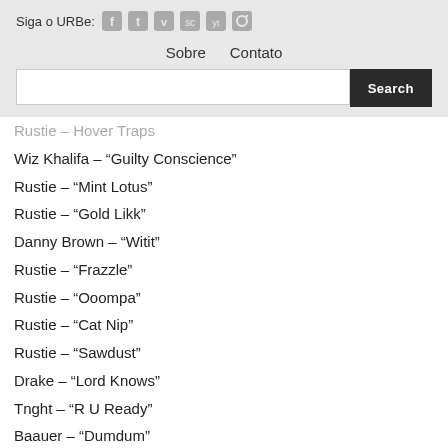Siga o URBe: [social icons]
Sobre   Contato
[Search bar]
Rustie – Hover Traps
Wiz Khalifa – "Guilty Conscience"
Rustie – "Mint Lotus"
Rustie – "Gold Likk"
Danny Brown – "Witit"
Rustie – "Frazzle"
Rustie – "Ooompa"
Rustie – "Cat Nip"
Rustie – "Sawdust"
Drake – "Lord Knows"
Tnght – "R U Ready"
Baauer – "Dumdum"
Nicki Minaj – "I Am Your Leader"
Eprom – "Regis Chillbin (Machinedrum Remix)